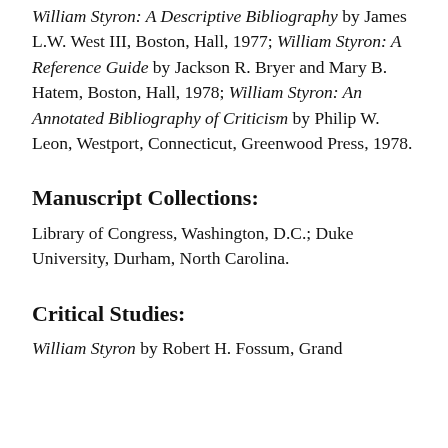William Styron: A Descriptive Bibliography by James L.W. West III, Boston, Hall, 1977; William Styron: A Reference Guide by Jackson R. Bryer and Mary B. Hatem, Boston, Hall, 1978; William Styron: An Annotated Bibliography of Criticism by Philip W. Leon, Westport, Connecticut, Greenwood Press, 1978.
Manuscript Collections:
Library of Congress, Washington, D.C.; Duke University, Durham, North Carolina.
Critical Studies:
William Styron by Robert H. Fossum, Grand